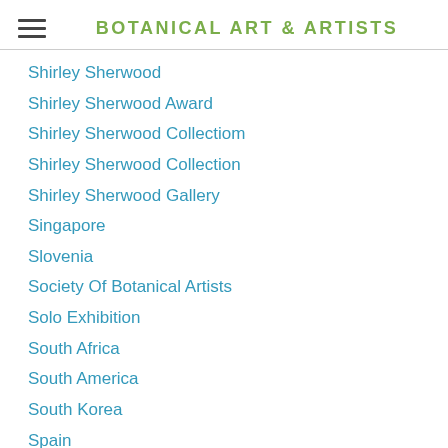BOTANICAL ART & ARTISTS
Shirley Sherwood
Shirley Sherwood Award
Shirley Sherwood Collectiom
Shirley Sherwood Collection
Shirley Sherwood Gallery
Singapore
Slovenia
Society Of Botanical Artists
Solo Exhibition
South Africa
South America
South Korea
Spain
Species
SSBA
Statitstics
Subscription